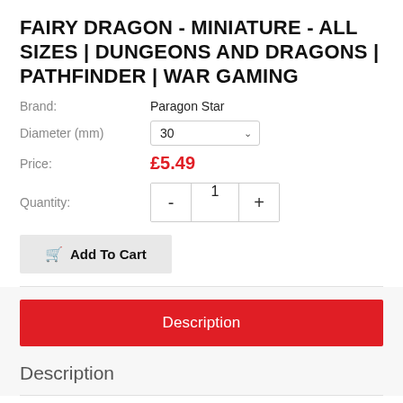FAIRY DRAGON - MINIATURE - ALL SIZES | DUNGEONS AND DRAGONS | PATHFINDER | WAR GAMING
Brand: Paragon Star
Diameter (mm): 30
Price: £5.49
Quantity: 1
Add To Cart
Description
Description